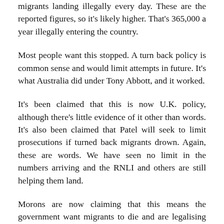migrants landing illegally every day. These are the reported figures, so it's likely higher. That's 365,000 a year illegally entering the country.
Most people want this stopped. A turn back policy is common sense and would limit attempts in future. It's what Australia did under Tony Abbott, and it worked.
It's been claimed that this is now U.K. policy, although there's little evidence of it other than words. It's also been claimed that Patel will seek to limit prosecutions if turned back migrants drown. Again, these are words. We have seen no limit in the numbers arriving and the RNLI and others are still helping them land.
Morons are now claiming that this means the government want migrants to die and are legalising the murder of migrants by 'forced drownings'. Once again the...(text cut off)